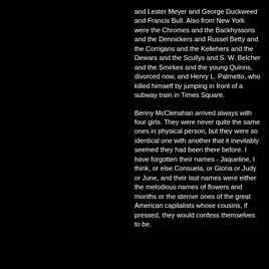and Lester Meyer and George Duckweed and Francis Bull. Also from New York were the Chromes and the Backhyssons and the Dennickers and Russel Betty and the Corrigans and the Kellehers and the Dewars and the Scullys and S. W. Belcher and the Smirkes and the young Quinns, divorced now, and Henry L. Palmetto, who killed himself by jumping in front of a subway train in Times Square.
Benny McClenahan arrived always with four girls. They were never quite the same ones in physical person, but they were so identical one with another that it inevitably seemed they had been there before. I have forgotten their names - Jaqueline, I think, or else Consuela, or Gloria or Judy or June, and their last names were either the melodious names of flowers and months or the sterner ones of the great American capitalists whose cousins, if pressed, they would confess themselves to be.